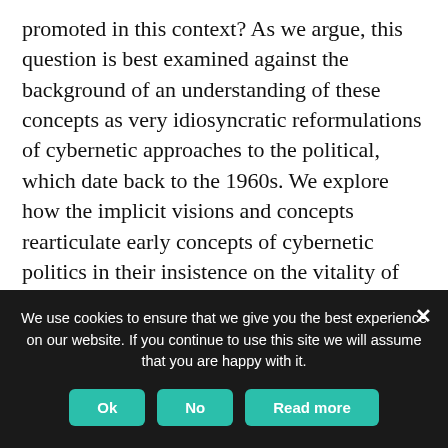promoted in this context? As we argue, this question is best examined against the background of an understanding of these concepts as very idiosyncratic reformulations of cybernetic approaches to the political, which date back to the 1960s. We explore how the implicit visions and concepts rearticulate early concepts of cybernetic politics in their insistence on the vitality of feedback structures, in allegedly blending hierarchy with tenets of decentralization, in shifting the focus from the individual to the interrelations between humans, including the social fabric encompassing them and, most importantly, in how far this might raise
We use cookies to ensure that we give you the best experience on our website. If you continue to use this site we will assume that you are happy with it.